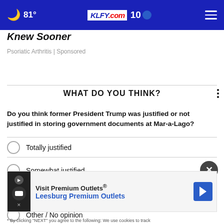🌙 81° KLFY.com 10
Knew Sooner
Psoriatic Arthritis | Sponsored
WHAT DO YOU THINK?
Do you think former President Trump was justified or not justified in storing government documents at Mar-a-Lago?
Totally justified
Somewhat justified
Not justified at all
Other / No opinion
Visit Premium Outlets® Leesburg Premium Outlets
* By clicking "NEXT" you agree to the following: We use cookies to track